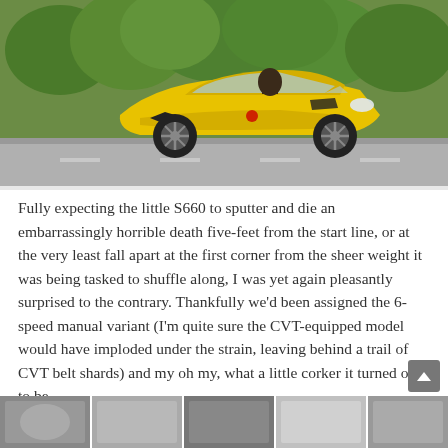[Figure (photo): Yellow Honda S660 roadster driving on a road with green trees/vegetation in the background. The car has black alloy wheels and is photographed from a slightly elevated side angle.]
Fully expecting the little S660 to sputter and die an embarrassingly horrible death five-feet from the start line, or at the very least fall apart at the first corner from the sheer weight it was being tasked to shuffle along, I was yet again pleasantly surprised to the contrary. Thankfully we'd been assigned the 6-speed manual variant (I'm quite sure the CVT-equipped model would have imploded under the strain, leaving behind a trail of CVT belt shards) and my oh my, what a little corker it turned out to be.
[Figure (photo): Strip of thumbnail photos along the bottom showing car detail shots in black and white and color.]